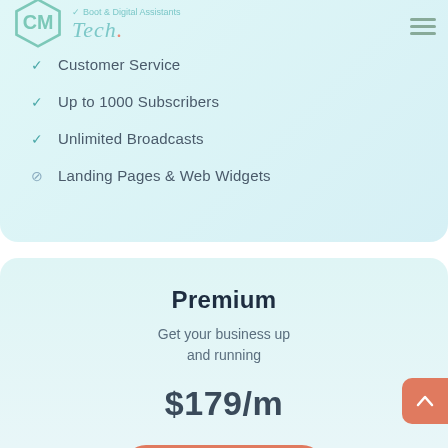[Figure (logo): CM Tech hexagon logo with teal outline]
Boot & Digital Assistants
Customer Service
Up to 1000 Subscribers
Unlimited Broadcasts
Landing Pages & Web Widgets
Premium
Get your business up and running
$179/m
Get Started